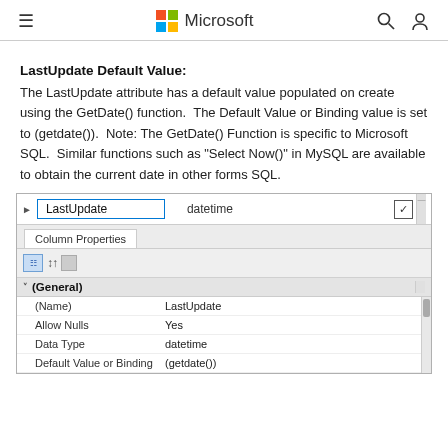Microsoft
LastUpdate Default Value:
The LastUpdate attribute has a default value populated on create using the GetDate() function.  The Default Value or Binding value is set to (getdate()).  Note: The GetDate() Function is specific to Microsoft SQL.  Similar functions such as "Select Now()" in MySQL are available to obtain the current date in other forms SQL.
[Figure (screenshot): SQL Server table designer screenshot showing LastUpdate column of datetime type with Column Properties panel. General section shows Name: LastUpdate, Allow Nulls: Yes, Data Type: datetime, Default Value or Binding: (getdate())]